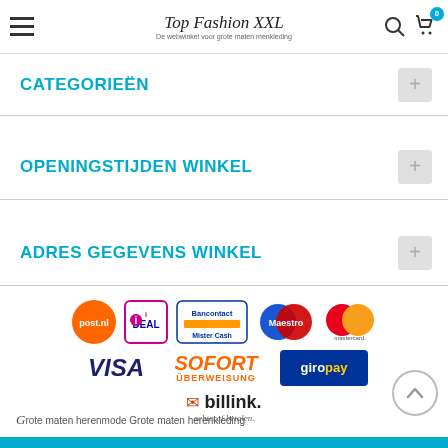Top Fashion XXL — De webwinkel voor grote maten menkleding
CATEGORIEËN
OPENINGSTIJDEN WINKEL
ADRES GEGEVENS WINKEL
[Figure (logo): Payment method logos: PostNL, iDEAL, Bancontact/Mister Cash, Maestro, Mastercard, VISA, SOFORT Überweisung, giropay, billink achteraf betalen]
Grote maten herenmode Grote maten herenkleding